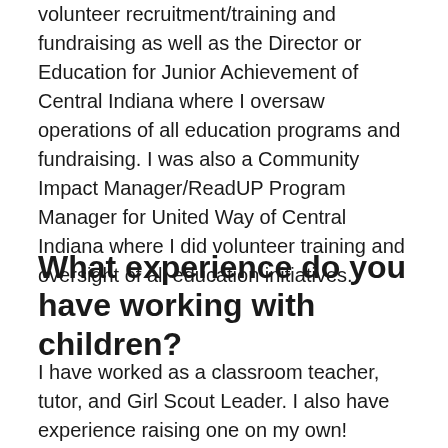volunteer recruitment/training and fundraising as well as the Director or Education for Junior Achievement of Central Indiana where I oversaw operations of all education programs and fundraising. I was also a Community Impact Manager/ReadUP Program Manager for United Way of Central Indiana where I did volunteer training and oversight of all education initiatives.
What experience do you have working with children?
I have worked as a classroom teacher, tutor, and Girl Scout Leader. I also have experience raising one on my own!